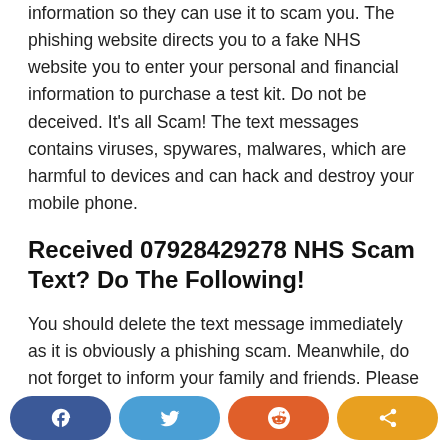information so they can use it to scam you. The phishing website directs you to a fake NHS website you to enter your personal and financial information to purchase a test kit. Do not be deceived. It's all Scam! The text messages contains viruses, spywares, malwares, which are harmful to devices and can hack and destroy your mobile phone.
Received 07928429278 NHS Scam Text? Do The Following!
You should delete the text message immediately as it is obviously a phishing scam. Meanwhile, do not forget to inform your family and friends. Please they should not
[Figure (infographic): Social share bar with four buttons: Facebook (dark blue), Twitter (light blue), Reddit (orange), and Share (amber/orange)]